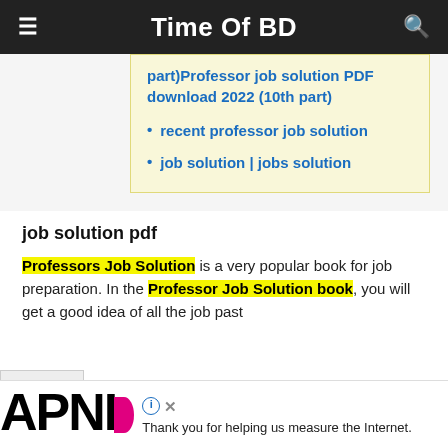Time Of BD
part)Professor job solution PDF download 2022 (10th part)
recent professor job solution
job solution | jobs solution
job solution pdf
Professors Job Solution is a very popular book for job preparation. In the Professor Job Solution book, you will get a good idea of all the job past
[Figure (other): APNIC advertisement banner at the bottom of the page with text: Thank you for helping us measure the Internet.]